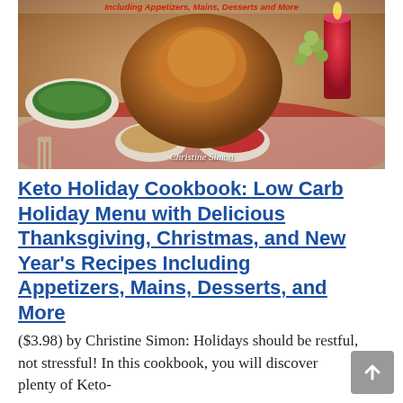[Figure (photo): Book cover photo showing a roasted turkey as the centerpiece on a holiday table, surrounded by side dishes including green beans, carrots, cranberry sauce, and other bowls. A red candle and grapes visible in background. Author name 'Christine Simon' overlaid on image. Red italic subtitle text at top reads 'Including Appetizers, Mains, Desserts and More'.]
Keto Holiday Cookbook: Low Carb Holiday Menu with Delicious Thanksgiving, Christmas, and New Year's Recipes Including Appetizers, Mains, Desserts, and More
($3.98) by Christine Simon: Holidays should be restful, not stressful! In this cookbook, you will discover plenty of Keto-